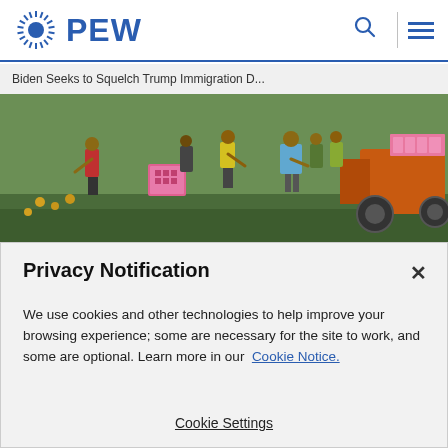PEW
Biden Seeks to Squelch Trump Immigration D...
[Figure (photo): Farm workers in a field with a tractor, some holding pink signs, green crops in foreground]
Privacy Notification
We use cookies and other technologies to help improve your browsing experience; some are necessary for the site to work, and some are optional. Learn more in our Cookie Notice.
Cookie Settings